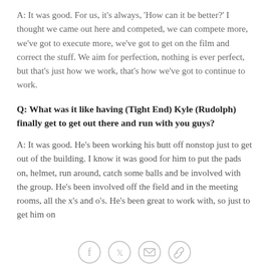A: It was good. For us, it's always, 'How can it be better?' I thought we came out here and competed, we can compete more, we've got to execute more, we've got to get on the film and correct the stuff. We aim for perfection, nothing is ever perfect, but that's just how we work, that's how we've got to continue to work.
Q: What was it like having (Tight End) Kyle (Rudolph) finally get to get out there and run with you guys?
A: It was good. He's been working his butt off nonstop just to get out of the building. I know it was good for him to put the pads on, helmet, run around, catch some balls and be involved with the group. He's been involved off the field and in the meeting rooms, all the x's and o's. He's been great to work with, so just to get him on
[Figure (other): Social sharing icons: Facebook, Twitter, Email, Link]